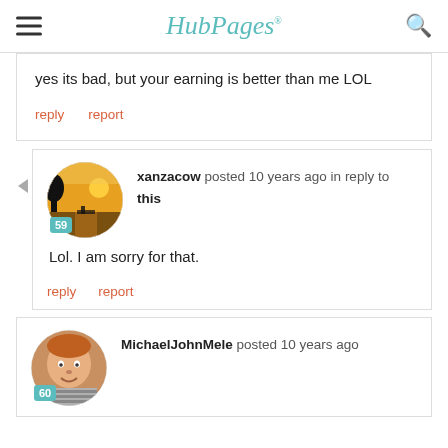HubPages
yes its bad, but your earning is better than me LOL
reply   report
xanzacow posted 10 years ago in reply to this
Lol. I am sorry for that.
reply   report
MichaelJohnMele posted 10 years ago